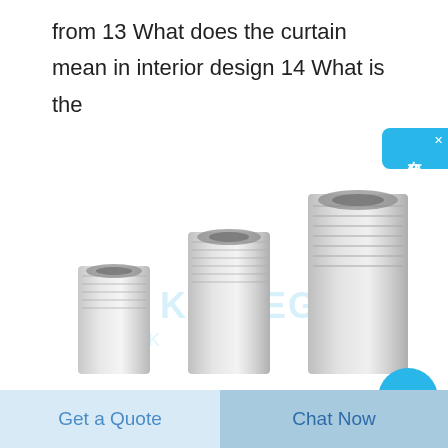from 13 What does the curtain mean in interior design 14 What is the
[Figure (illustration): Three metallic threaded cylindrical couplers/nuts of increasing height arranged left to right, with a KELLEG watermark. A blue circle partially visible at bottom right. Background is white.]
在线咨询
Get a Quote
Chat Now